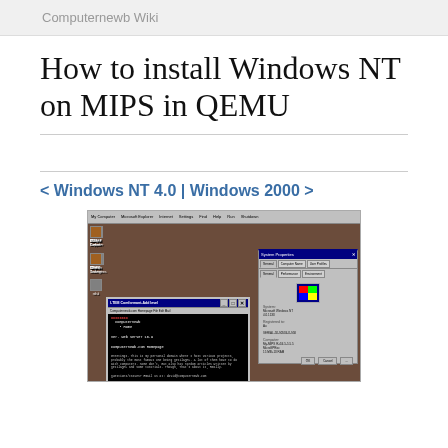Computernewb Wiki
How to install Windows NT on MIPS in QEMU
< Windows NT 4.0 | Windows 2000 >
[Figure (screenshot): Screenshot of Windows NT running on MIPS in QEMU, showing the desktop with icons and two open windows: a System Properties dialog and a QEMU terminal showing the Computernewb.com homepage in a text browser.]